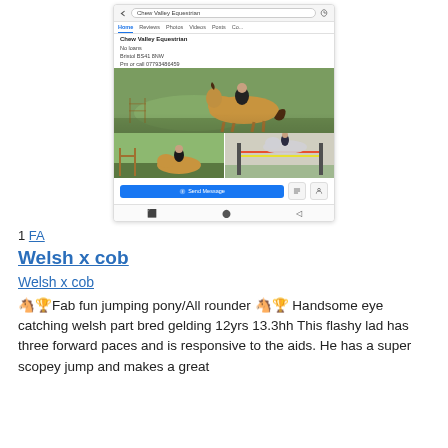[Figure (screenshot): Mobile browser screenshot showing Chew Valley Equestrian Facebook page with horse photos, 'No loans', 'Bristol BS41 8NW', 'Pm or call 07793486459', and a Send Message button]
1 FA
Welsh x cob
Welsh x cob
🐴🏆Fab fun jumping pony/All rounder 🐴🏆 Handsome eye catching welsh part bred gelding 12yrs 13.3hh This flashy lad has three forward paces and is responsive to the aids. He has a super scopey jump and makes a great